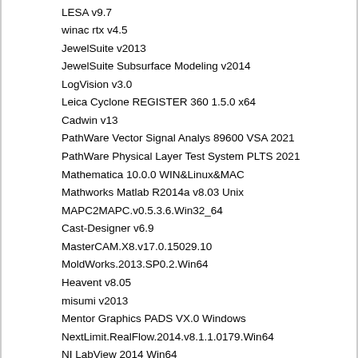LESA v9.7
winac rtx v4.5
JewelSuite v2013
JewelSuite Subsurface Modeling v2014
LogVision v3.0
Leica Cyclone REGISTER 360 1.5.0 x64
Cadwin v13
PathWare Vector Signal Analys 89600 VSA 2021
PathWare Physical Layer Test System PLTS 2021
Mathematica 10.0.0 WIN&Linux&MAC
Mathworks Matlab R2014a v8.03 Unix
MAPC2MAPC.v0.5.3.6.Win32_64
Cast-Designer v6.9
MasterCAM.X8.v17.0.15029.10
MoldWorks.2013.SP0.2.Win64
Heavent v8.05
misumi v2013
Mentor Graphics PADS VX.0 Windows
NextLimit.RealFlow.2014.v8.1.1.0179.Win64
NI LabView 2014 Win64
MIDUSS v2.25 rev 473
softlogix5800 v16
paradigm StratEarth v2015
nanoSoft.nanoCAD.Plus.v6.0.2785.1603.2436
Nemetschek Allplan 2014.1.3 (x86x64)
NetSarang Xmanager Enterprise v5.0.0464
nemo analyze v7.5
nemo outdoor v7.7.0.9